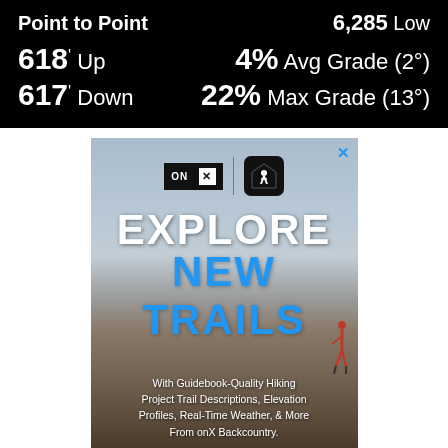Point to Point
6,285 Low
618' Up
4% Avg Grade (2°)
617' Down
22% Max Grade (13°)
[Figure (infographic): onX Backcountry advertisement showing a person standing on a canyon overlook with text EXPLORE NEW TRAILS and a Start Free Trial button]